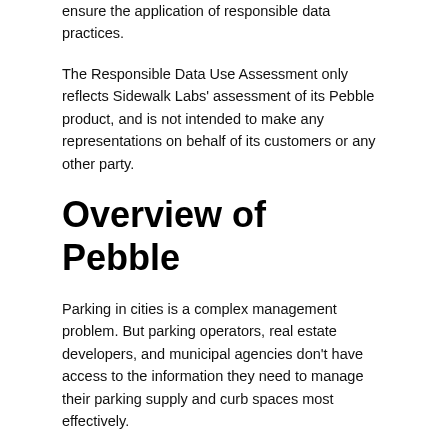ensure the application of responsible data practices.
The Responsible Data Use Assessment only reflects Sidewalk Labs' assessment of its Pebble product, and is not intended to make any representations on behalf of its customers or any other party.
Overview of Pebble
Parking in cities is a complex management problem. But parking operators, real estate developers, and municipal agencies don't have access to the information they need to manage their parking supply and curb spaces most effectively.
Pebble: a low-cost, easy-install, privacy-preserving vehicle sensor designed to help manage parking and the curb in innovative and sustainable ways. Pebble